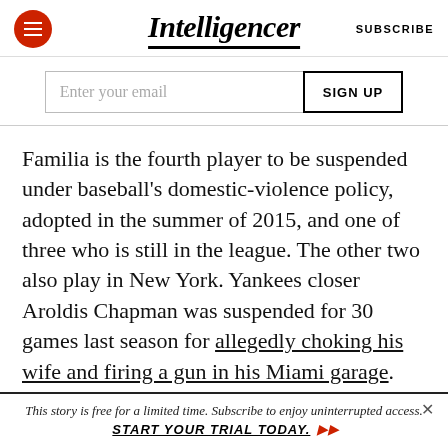Intelligencer | SUBSCRIBE
Enter your email | SIGN UP
Familia is the fourth player to be suspended under baseball's domestic-violence policy, adopted in the summer of 2015, and one of three who is still in the league. The other two also play in New York. Yankees closer Aroldis Chapman was suspended for 30 games last season for allegedly choking his wife and firing a gun in his Miami garage. And Familia's fellow Met José Reyes was suspended for 52 games
This story is free for a limited time. Subscribe to enjoy uninterrupted access. START YOUR TRIAL TODAY.